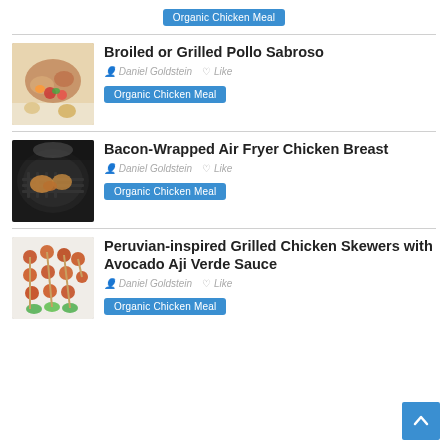[Figure (other): Organic Chicken Meal tag button at top]
[Figure (photo): Photo of Broiled or Grilled Pollo Sabroso dish with colorful toppings]
Broiled or Grilled Pollo Sabroso
Daniel Goldstein  ♡ Like
Organic Chicken Meal
[Figure (photo): Photo of Bacon-Wrapped Air Fryer Chicken Breast in air fryer basket]
Bacon-Wrapped Air Fryer Chicken Breast
Daniel Goldstein  ♡ Like
Organic Chicken Meal
[Figure (photo): Photo of Peruvian-inspired Grilled Chicken Skewers with Avocado Aji Verde Sauce]
Peruvian-inspired Grilled Chicken Skewers with Avocado Aji Verde Sauce
Daniel Goldstein  ♡ Like
Organic Chicken Meal